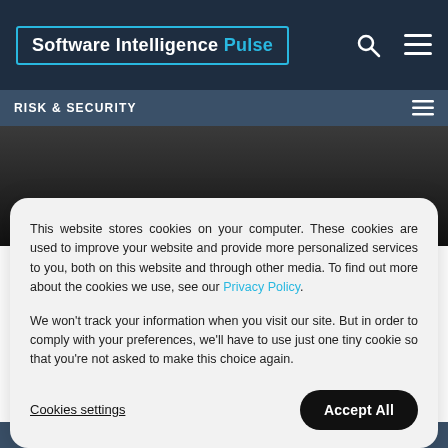Software Intelligence Pulse
RISK & SECURITY
[Figure (photo): Dark background article hero image with a small yellow element visible at the bottom center]
Microsoft Ducks Duqu
This website stores cookies on your computer. These cookies are used to improve your website and provide more personalized services to you, both on this website and through other media. To find out more about the cookies we use, see our Privacy Policy.

We won't track your information when you visit our site. But in order to comply with your preferences, we'll have to use just one tiny cookie so that you're not asked to make this choice again.
Cookies settings
Accept All